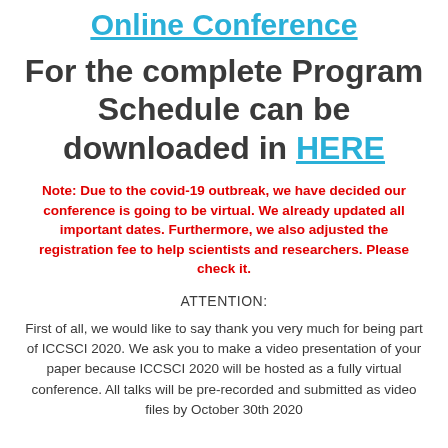Online Conference
For the complete Program Schedule can be downloaded in HERE
Note: Due to the covid-19 outbreak, we have decided our conference is going to be virtual. We already updated all important dates. Furthermore, we also adjusted the registration fee to help scientists and researchers. Please check it.
ATTENTION:
First of all, we would like to say thank you very much for being part of ICCSCI 2020. We ask you to make a video presentation of your paper because ICCSCI 2020 will be hosted as a fully virtual conference. All talks will be pre-recorded and submitted as video files by October 30th 2020